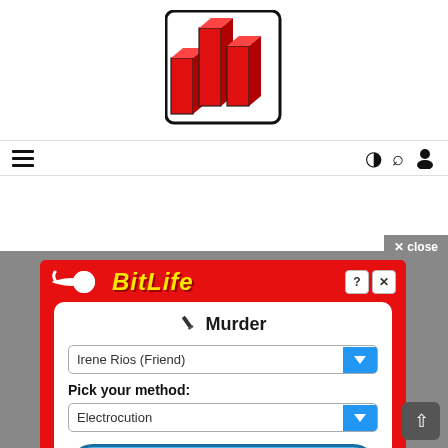[Figure (logo): Website logo: red 3D bar chart icon made of stacked blocks]
[Figure (screenshot): Navigation bar with hamburger menu icon on left and icons (half-moon, search, user) on right]
[Figure (screenshot): BitLife app advertisement showing Murder screen with dropdown for Irene Rios (Friend) and method Electrocution, with Do it! button and No, what am I thinking? button. Close button in top right of ad area.]